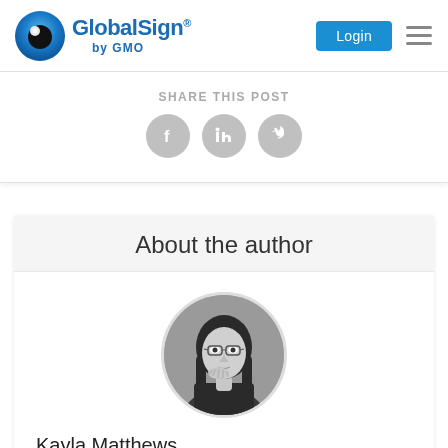[Figure (logo): GlobalSign by GMO logo with blue eye icon and blue text]
SHARE THIS POST
[Figure (infographic): Social share icons: Facebook, LinkedIn, Twitter as grey circles]
About the author
[Figure (photo): Black and white circular photo of Kayla Matthews, a young woman with glasses and long dark hair, hand near chin in thoughtful pose]
Kayla Matthews